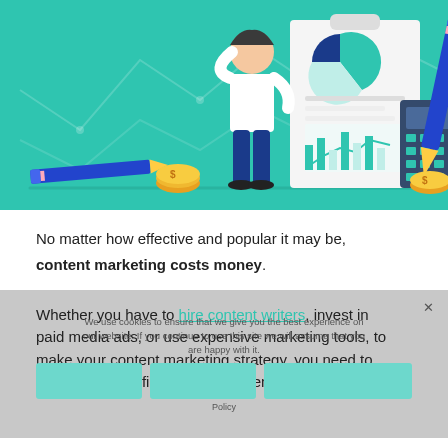[Figure (illustration): Flat design illustration on teal/green background showing a businessman standing next to a large clipboard with a pie chart, line chart, and bar chart. A calculator, two gold coins, a blue pencil, and a blue pen are also depicted. Background has subtle line graph shapes.]
No matter how effective and popular it may be, content marketing costs money.
Whether you have to hire content writers, invest in paid media ads, or use expensive marketing tools, to make your content marketing strategy, you need to make a serious financial investment.
We use cookies to ensure that we give you the best experience on our website. If you continue to use this site we will assume that you are happy with it.